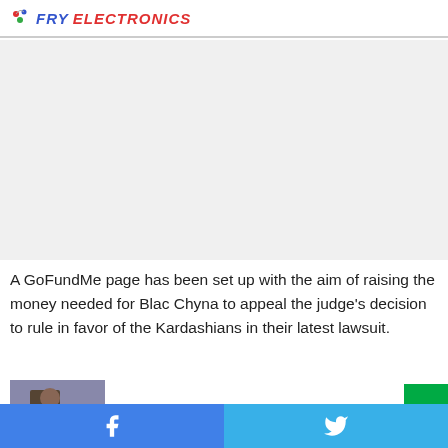FRY ELECTRONICS
[Figure (other): Advertisement banner placeholder area]
A GoFundMe page has been set up with the aim of raising the money needed for Blac Chyna to appeal the judge's decision to rule in favor of the Kardashians in their latest lawsuit.
[Figure (screenshot): Video thumbnail of Blac Chyna with 'Loading video' text]
Facebook and Twitter social sharing buttons